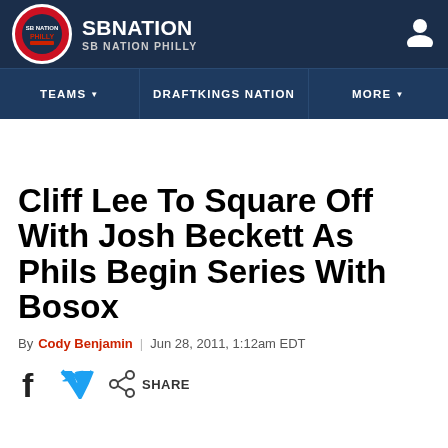SB NATION | SB NATION PHILLY
TEAMS | DRAFTKINGS NATION | MORE
Cliff Lee To Square Off With Josh Beckett As Phils Begin Series With Bosox
By Cody Benjamin | Jun 28, 2011, 1:12am EDT
SHARE